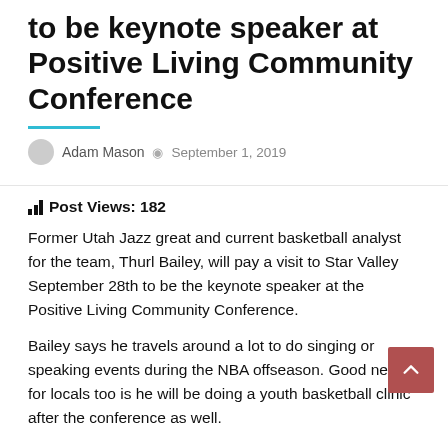to be keynote speaker at Positive Living Community Conference
Adam Mason   September 1, 2019
Post Views: 182
Former Utah Jazz great and current basketball analyst for the team, Thurl Bailey, will pay a visit to Star Valley September 28th to be the keynote speaker at the Positive Living Community Conference.
Bailey says he travels around a lot to do singing or speaking events during the NBA offseason. Good news for locals too is he will be doing a youth basketball clinic after the conference as well.
“It’s a great opportunity for me to get out,” Bailey said.